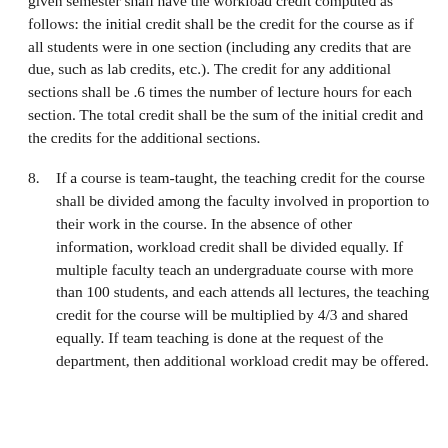given semester shall have the workload credit computed as follows: the initial credit shall be the credit for the course as if all students were in one section (including any credits that are due, such as lab credits, etc.). The credit for any additional sections shall be .6 times the number of lecture hours for each section. The total credit shall be the sum of the initial credit and the credits for the additional sections.
8. If a course is team-taught, the teaching credit for the course shall be divided among the faculty involved in proportion to their work in the course. In the absence of other information, workload credit shall be divided equally. If multiple faculty teach an undergraduate course with more than 100 students, and each attends all lectures, the teaching credit for the course will be multiplied by 4/3 and shared equally. If team teaching is done at the request of the department, then additional workload credit may be offered.